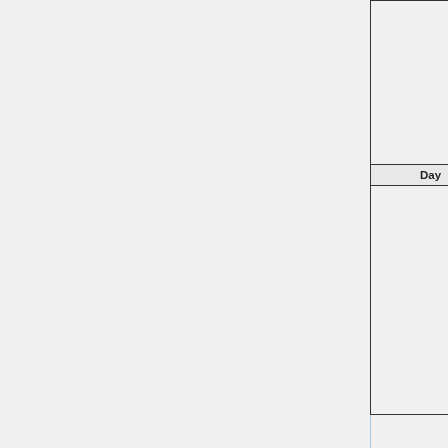| Day | Time |  | Room | E… |
| --- | --- | --- | --- | --- |
|  |  | Q4 | tbd | Joint with… Care, O&…
• (nega… other… joint… |
| Day | Time |  | Room | E… |
|  |  | Q1 | tbd | Joint with…
• statu… align… QDM… cove… conte…
• resul… KNA… |
|  |  | AM… |  | Joint with…
• Next… Can… Inter… |